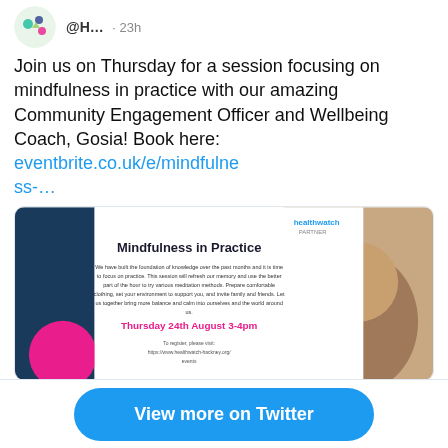[Figure (screenshot): Twitter/social media post screenshot showing a Healthwatch account post about a Mindfulness in Practice session]
@H… · 23h
Join us on Thursday for a session focusing on mindfulness in practice with our amazing Community Engagement Officer and Wellbeing Coach, Gosia! Book here: eventbrite.co.uk/e/mindfulness-…
[Figure (photo): Flyer image for Mindfulness in Practice event by Healthwatch, Thursday 24th August 3-4pm, with photo of a woman meditating]
5 likes
View more on Twitter